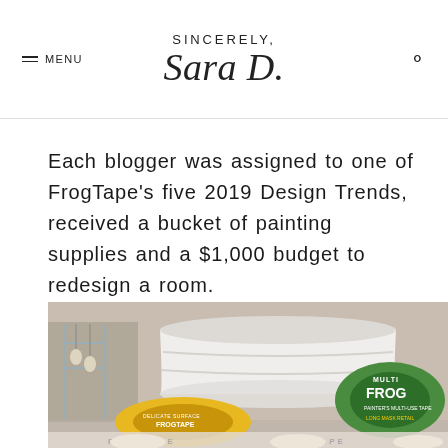SINCERELY, Sara D.
Each blogger was assigned to one of FrogTape's five 2019 Design Trends, received a bucket of painting supplies and a $1,000 budget to redesign a room.
[Figure (photo): A large white paint bucket in the center, with a yellow FrogTape roll (Delicate Surface) in the lower left and a green FrogTape roll (Multi-surface) in the lower right. Multiple FrogTape rolls are partially visible at the very bottom of the image.]